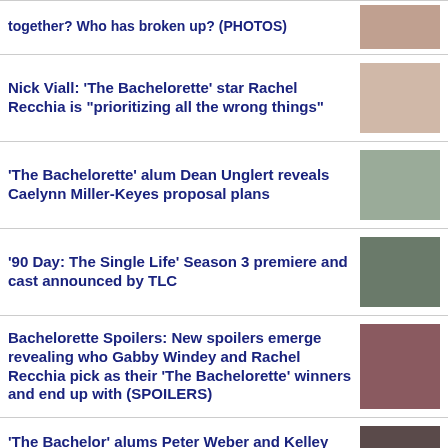together? Who has broken up? (PHOTOS)
Nick Viall: 'The Bachelorette' star Rachel Recchia is "prioritizing all the wrong things"
'The Bachelorette' alum Dean Unglert reveals Caelynn Miller-Keyes proposal plans
'90 Day: The Single Life' Season 3 premiere and cast announced by TLC
Bachelorette Spoilers: New spoilers emerge revealing who Gabby Windey and Rachel Recchia pick as their 'The Bachelorette' winners and end up with (SPOILERS)
'The Bachelor' alums Peter Weber and Kelley Flanagan spark reconciliation rumors with public outings
MORE 90 DAY FIANCE: HAPPILY EVER AFTER? NEWS